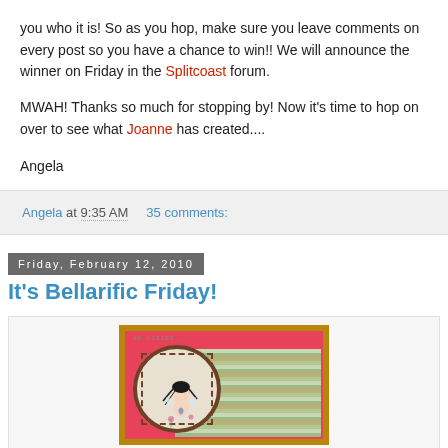you who it is! So as you hop, make sure you leave comments on every post so you have a chance to win!! We will announce the winner on Friday in the Splitcoast forum.
MWAH! Thanks so much for stopping by! Now it's time to hop on over to see what Joanne has created....
Angela
Angela at 9:35 AM   35 comments:
Friday, February 12, 2010
It's Bellarific Friday!
[Figure (photo): A handmade greeting card featuring a fairy illustration in an oval frame on a pink background with striped decorative elements]